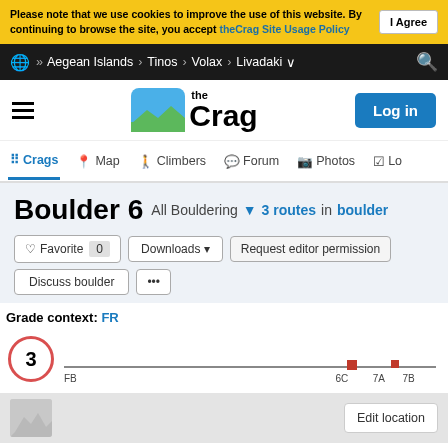Please note that we use cookies to improve the use of this website. By continuing to browse the site, you accept theCrag Site Usage Policy  I Agree
Aegean Islands > Tinos > Volax > Livadaki
[Figure (logo): theCrag website logo with mountain/landscape icon and Log in button]
Crags  Map  Climbers  Forum  Photos  Lo...
Boulder 6 All Bouldering 3 routes in boulder
Favorite 0  Downloads  Request editor permission
Discuss boulder  ...
Grade context: FR
[Figure (bar-chart): Grade distribution chart showing 3 routes at grades 6C, 7A, 7B on FB scale, with circle showing count 3]
Edit location